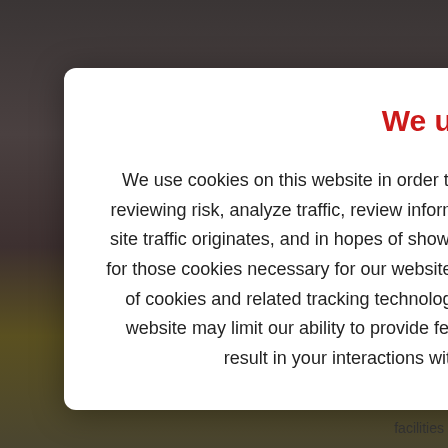We use cookies
We use cookies on this website in order to monitor and improve site performance, assist us in reviewing risk, analyze traffic, review information about how our site is accessed and from where site traffic originates, and in hopes of showing you things in which you may be interested. Except for those cookies necessary for our website to function, we provide you choices related to the use of cookies and related tracking technologies used on our website. Limiting cookie use on this website may limit our ability to provide features of this site or certain of our services to you or result in your interactions with this website being limited. You should